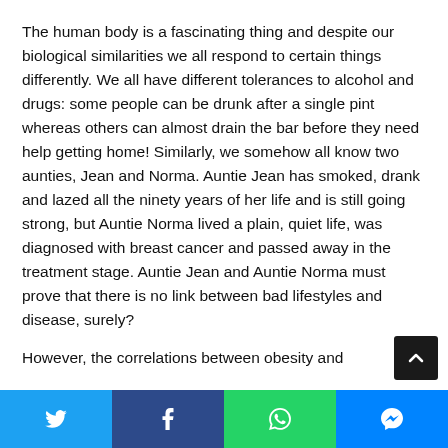The human body is a fascinating thing and despite our biological similarities we all respond to certain things differently. We all have different tolerances to alcohol and drugs: some people can be drunk after a single pint whereas others can almost drain the bar before they need help getting home! Similarly, we somehow all know two aunties, Jean and Norma. Auntie Jean has smoked, drank and lazed all the ninety years of her life and is still going strong, but Auntie Norma lived a plain, quiet life, was diagnosed with breast cancer and passed away in the treatment stage. Auntie Jean and Auntie Norma must prove that there is no link between bad lifestyles and disease, surely?
However, the correlations between obesity and
[Figure (other): Social media share bar with Twitter, Facebook, WhatsApp, and Messenger buttons]